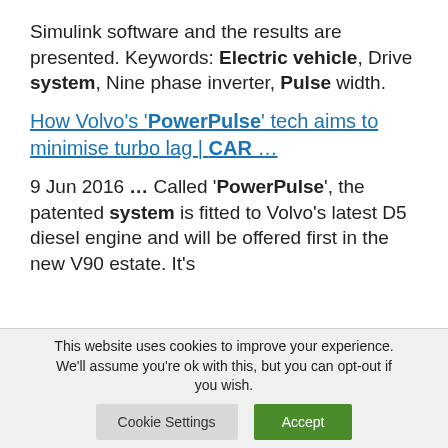Simulink software and the results are presented. Keywords: Electric vehicle, Drive system, Nine phase inverter, Pulse width.
How Volvo's 'PowerPulse' tech aims to minimise turbo lag | CAR ...
9 Jun 2016 ... Called 'PowerPulse', the patented system is fitted to Volvo's latest D5 diesel engine and will be offered first in the new V90 estate. It's
This website uses cookies to improve your experience. We'll assume you're ok with this, but you can opt-out if you wish.